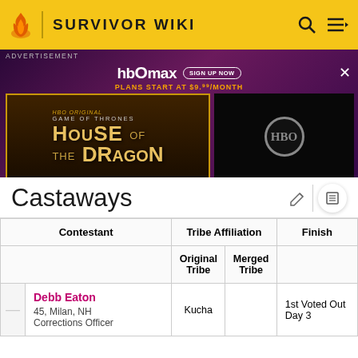SURVIVOR WIKI
[Figure (screenshot): HBO Max advertisement banner featuring House of the Dragon promotional image with purple/dark background, showing 'HBO max SIGN UP NOW - PLANS START AT $9.99/MONTH' text and the House of the Dragon show logo]
Castaways
| Contestant | Tribe Affiliation - Original Tribe | Tribe Affiliation - Merged Tribe | Finish |
| --- | --- | --- | --- |
| Debb Eaton
45, Milan, NH
Corrections Officer | Kucha |  | 1st Voted Out Day 3 |